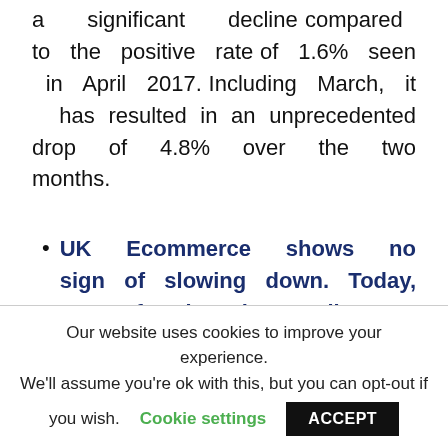a significant decline compared to the positive rate of 1.6% seen in April 2017. Including March, it has resulted in an unprecedented drop of 4.8% over the two months.
UK Ecommerce shows no sign of slowing down. Today, 26% of Brits shop online
Our website uses cookies to improve your experience. We'll assume you're ok with this, but you can opt-out if you wish. Cookie settings ACCEPT